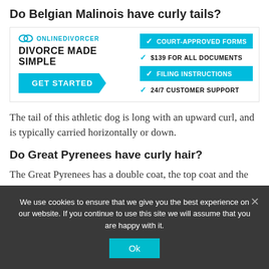Do Belgian Malinois have curly tails?
[Figure (infographic): Online Divorcer advertisement banner with logo, tagline 'DIVORCE MADE SIMPLE', GET STARTED button, and feature list: COURT-APPROVED FORMS, $139 FOR ALL DOCUMENTS, FILING INSTRUCTIONS, 24/7 CUSTOMER SUPPORT]
The tail of this athletic dog is long with an upward curl, and is typically carried horizontally or down.
Do Great Pyrenees have curly hair?
The Great Pyrenees has a double coat, the top coat and the undercoat. The top coat is long and thick and should be
We use cookies to ensure that we give you the best experience on our website. If you continue to use this site we will assume that you are happy with it.